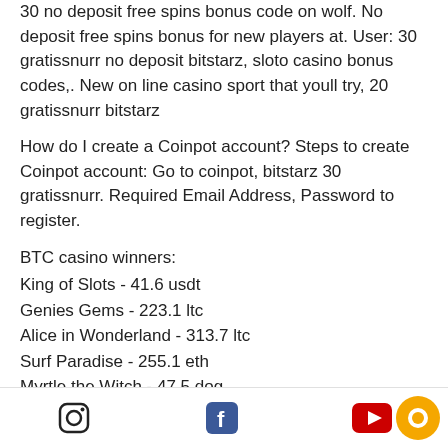30 no deposit free spins bonus code on wolf. No deposit free spins bonus for new players at. User: 30 gratissnurr no deposit bitstarz, sloto casino bonus codes,. New on line casino sport that youll try, 20 gratissnurr bitstarz
How do I create a Coinpot account? Steps to create Coinpot account: Go to coinpot, bitstarz 30 gratissnurr. Required Email Address, Password to register.
BTC casino winners:
King of Slots - 41.6 usdt
Genies Gems - 223.1 ltc
Alice in Wonderland - 313.7 ltc
Surf Paradise - 255.1 eth
Myrtle the Witch - 47.5 dog
Milady X2 - 467.5 eth
Power of Asia - 167.9 btc
Leonardo's Loot - 512.6 usdt
Social media icons: Instagram, Facebook, YouTube